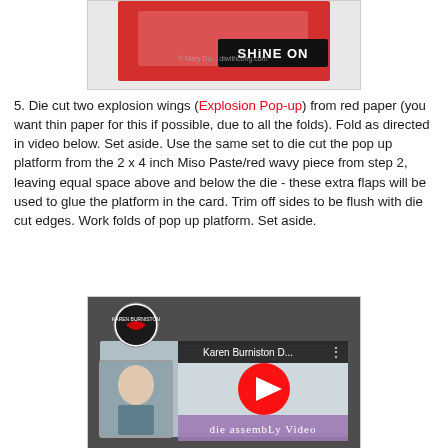[Figure (photo): Partial photo of a red craft card with 'SHINE ON' label, watermarked with 'diwithcong.com']
5. Die cut two explosion wings (Explosion Pop-up) from red paper (you want thin paper for this if possible, due to all the folds). Fold as directed in video below. Set aside. Use the same set to die cut the pop up platform from the 2 x 4 inch Miso Paste/red wavy piece from step 2, leaving equal space above and below the die - these extra flaps will be used to glue the platform in the card. Trim off sides to be flush with die cut edges. Work folds of pop up platform. Set aside.
[Figure (screenshot): YouTube video thumbnail for Karen Burniston die assembly video, showing a woman and a YouTube play button, with text 'die assembly Video']